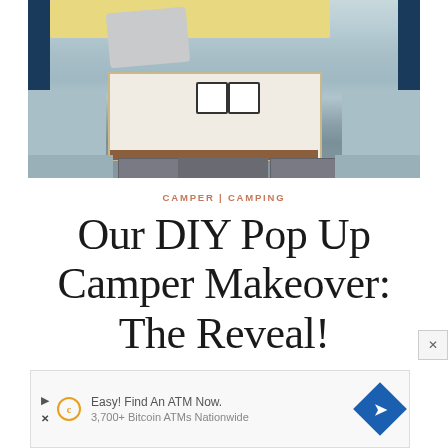[Figure (photo): Interior of a camper showing a dinette booth with light blue/gray upholstered bench seats, a yellow cushion at the top, a gray fluffy pillow, a white laminate table with a wood edge, two white enamel mugs, a white cutting board, and a yellow cutting board. Below the table are dark cabinet drawers.]
CAMPER | CAMPING
Our DIY Pop Up Camper Makeover: The Reveal!
[Figure (screenshot): Advertisement banner reading 'Easy! Find An ATM Now.' with Bitcoin ATM branding and a blue diamond arrow logo. Sub-text: '3,700+ Bitcoin ATMs Nationwide']